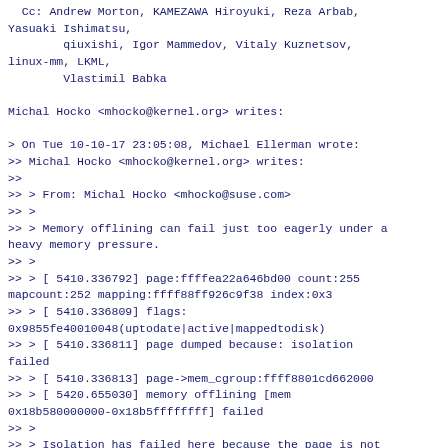Cc: Andrew Morton, KAMEZAWA Hiroyuki, Reza Arbab,
Yasuaki Ishimatsu,
        qiuxishi, Igor Mammedov, Vitaly Kuznetsov,
linux-mm, LKML,
        Vlastimil Babka

Michal Hocko <mhocko@kernel.org> writes:

> On Tue 10-10-17 23:05:08, Michael Ellerman wrote:
>> Michal Hocko <mhocko@kernel.org> writes:
>>
>> > From: Michal Hocko <mhocko@suse.com>
>> >
>> > Memory offlining can fail just too eagerly under a heavy memory pressure.
>> >
>> > [ 5410.336792] page:ffffea22a646bd00 count:255 mapcount:252 mapping:ffff88ff926c9f38 index:0x3
>> > [ 5410.336809] flags:
0x9855fe40010048(uptodate|active|mappedtodisk)
>> > [ 5410.336811] page dumped because: isolation failed
>> > [ 5410.336813] page->mem_cgroup:ffff8801cd662000
>> > [ 5420.655030] memory offlining [mem 0x18b580000000-0x18b5ffffffff] failed
>> >
>> > Isolation has failed here because the page is not on LRU. Most probably
>> > because it was on the pcp LRU cache or it has been removed from the LRU